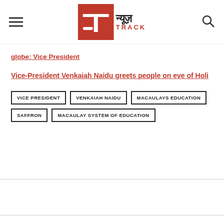News Track (न्यूज़ TRACK) logo with hamburger menu and search icon
globe: Vice President
Vice-President Venkaiah Naidu greets people on eve of Holi
VICE PRESIDENT
VENKAIAH NAIDU
MACAULAYS EDUCATION
SAFFRON
MACAULAY SYSTEM OF EDUCATION